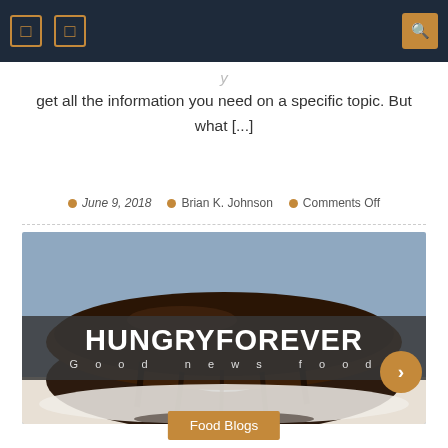Navigation bar with icons and search
get all the information you need on a specific topic. But what [...]
June 9, 2018  Brian K. Johnson  Comments Off
[Figure (photo): Chocolate bundt cake with chocolate glaze drizzle on a white plate, with HUNGRYFOREVER Good news food logo overlay]
Food Blogs